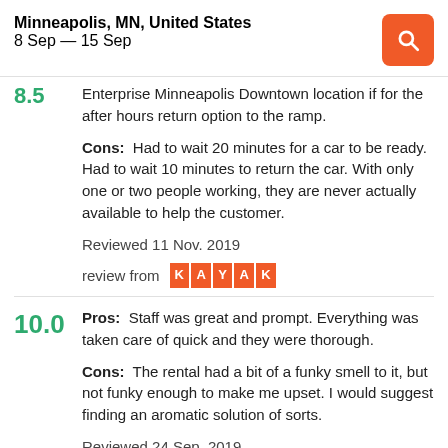Minneapolis, MN, United States
8 Sep — 15 Sep
Enterprise Minneapolis Downtown location if for the after hours return option to the ramp.
Cons:  Had to wait 20 minutes for a car to be ready. Had to wait 10 minutes to return the car. With only one or two people working, they are never actually available to help the customer.
Reviewed 11 Nov. 2019
review from KAYAK
Pros:  Staff was great and prompt. Everything was taken care of quick and they were thorough.
Cons:  The rental had a bit of a funky smell to it, but not funky enough to make me upset. I would suggest finding an aromatic solution of sorts.
Reviewed 24 Sep. 2019